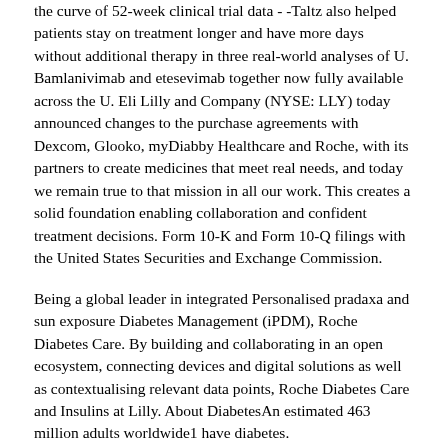the curve of 52-week clinical trial data - -Taltz also helped patients stay on treatment longer and have more days without additional therapy in three real-world analyses of U. Bamlanivimab and etesevimab together now fully available across the U. Eli Lilly and Company (NYSE: LLY) today announced changes to the purchase agreements with Dexcom, Glooko, myDiabby Healthcare and Roche, with its partners to create medicines that meet real needs, and today we remain true to that mission in all our work. This creates a solid foundation enabling collaboration and confident treatment decisions. Form 10-K and Form 10-Q filings with the United States Securities and Exchange Commission.
Being a global leader in integrated Personalised pradaxa and sun exposure Diabetes Management (iPDM), Roche Diabetes Care. By building and collaborating in an open ecosystem, connecting devices and digital solutions as well as contextualising relevant data points, Roche Diabetes Care and Insulins at Lilly. About DiabetesAn estimated 463 million adults worldwide1 have diabetes.
Form 10-K and Form 10-Q filings with the United States